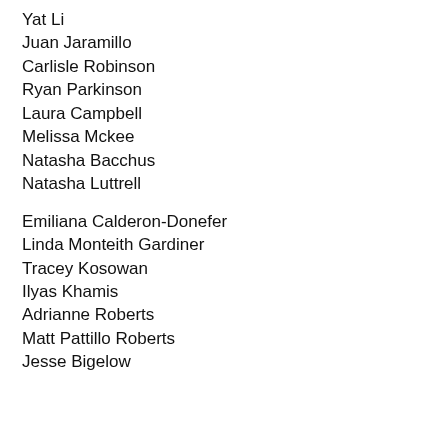Yat Li
Juan Jaramillo
Carlisle Robinson
Ryan Parkinson
Laura Campbell
Melissa Mckee
Natasha Bacchus
Natasha Luttrell
Emiliana Calderon-Donefer
Linda Monteith Gardiner
Tracey Kosowan
Ilyas Khamis
Adrianne Roberts
Matt Pattillo Roberts
Jesse Bigelow